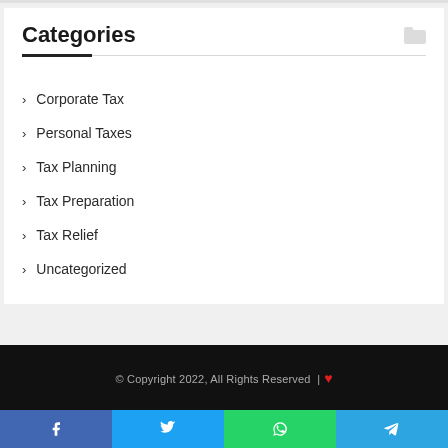Categories
Corporate Tax
Personal Taxes
Tax Planning
Tax Preparation
Tax Relief
Uncategorized
© Copyright 2022, All Rights Reserved | ❤